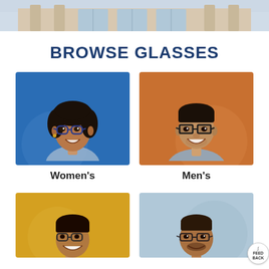[Figure (photo): Top banner photo of a building exterior with stone columns and windows, light blue sky]
BROWSE GLASSES
[Figure (photo): Woman with curly hair wearing glasses smiling against a blue background]
Women's
[Figure (photo): Man wearing rectangular glasses laughing against an orange background]
Men's
[Figure (photo): Child with glasses laughing against a yellow background]
[Figure (photo): Man with glasses against a light blue-gray background]